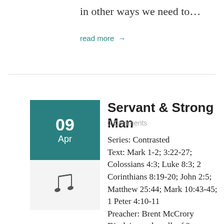in other ways we need to…
read more →
Servant & Strong Man
0 Comments
Series: Contrasted
Text: Mark 1-2; 3:22-27; Colossians 4:3; Luke 8:3; 2 Corinthians 8:19-20; John 2:5; Matthew 25:44; Mark 10:43-45; 1 Peter 4:10-11
Preacher: Brent McCrory
Disclaimer: the talk of 3